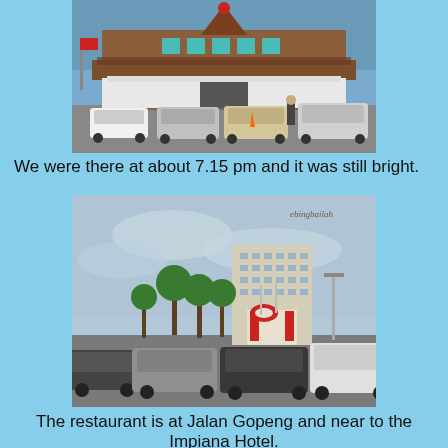[Figure (photo): A traditional Malay-style restaurant building with wooden architecture, brown roof, surrounded by parked cars in a parking lot. Several cars including white, silver, and gold colored vehicles are parked in front.]
We were there at about 7.15 pm and it was still bright.
[Figure (photo): A parking lot scene at dusk/evening with overcast sky. A large hotel building with red and white facade (Impiana Hotel) visible in the background, palm trees, and cars parked in foreground. Watermark text 'ebingbailah' in top right corner.]
The restaurant is at Jalan Gopeng and near to the Impiana Hotel.
We were informed that the tables in the air-conditioned room